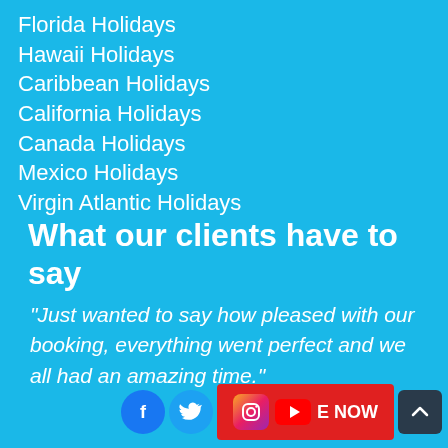Florida Holidays
Hawaii Holidays
Caribbean Holidays
California Holidays
Canada Holidays
Mexico Holidays
Virgin Atlantic Holidays
What our clients have to say
"Just wanted to say how pleased with our booking, everything went perfect and we all had an amazing time."
[Figure (infographic): Footer bar with Facebook, Twitter, Instagram social icons, a red ENQUIRE NOW button with YouTube icon, and a dark scroll-to-top button]